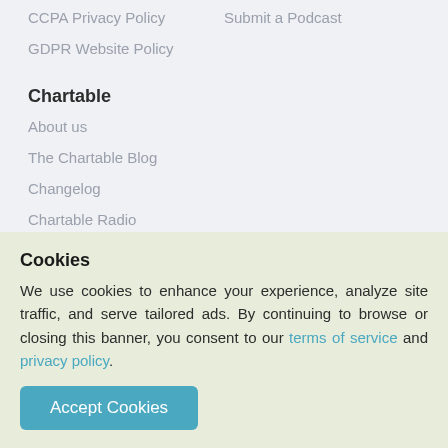CCPA Privacy Policy
Submit a Podcast
GDPR Website Policy
Chartable
About us
The Chartable Blog
Changelog
Chartable Radio
@ChartableDotCom
© 2022 Chartable Holdings, Inc
Cookies
We use cookies to enhance your experience, analyze site traffic, and serve tailored ads. By continuing to browse or closing this banner, you consent to our terms of service and privacy policy.